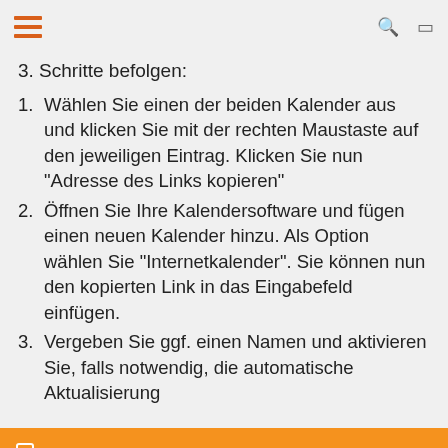menu, search, bookmark icons
3. Schritte befolgen:
1. Wählen Sie einen der beiden Kalender aus und klicken Sie mit der rechten Maustaste auf den jeweiligen Eintrag. Klicken Sie nun "Adresse des Links kopieren"
2. Öffnen Sie Ihre Kalendersoftware und fügen einen neuen Kalender hinzu. Als Option wählen Sie "Internetkalender". Sie können nun den kopierten Link in das Eingabefeld einfügen.
3. Vergeben Sie ggf. einen Namen und aktivieren Sie, falls notwendig, die automatische Aktualisierung
Aktueller Messekalender alle Veranstaltungen Düsseldorf (ical)